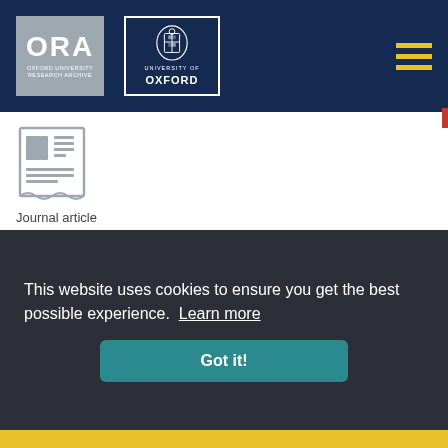ORA Oxford University Research Archive | University of Oxford
[Figure (logo): Document/journal article icon with two columns of lines]
Journal article
Visual SLAM and structure from motion in dynamic environments
Saputra, M, Markham, A, Trigoni, N  |  2018-06-02
[Figure (illustration): Open access badge (red padlock), peer reviewed badge (green checkmark), and preprint badge (green P)]
This website uses cookies to ensure you get the best possible experience.  Learn more
Got it!